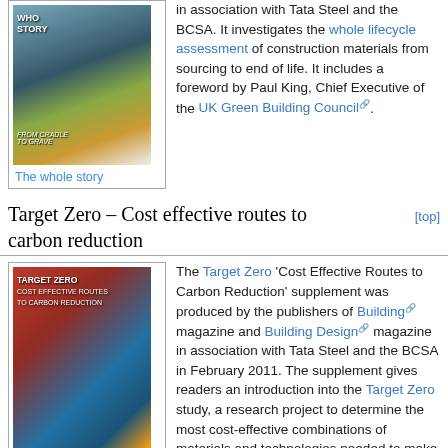[Figure (photo): Book cover: 'The Whole Story - From Cradle to Grave' in association with Tata Steel and the BCSA, showing an illustrated building]
The whole story
in association with Tata Steel and the BCSA. It investigates the whole lifecycle assessment of construction materials from sourcing to end of life. It includes a foreword by Paul King, Chief Executive of the UK Green Building Council.
Target Zero – Cost effective routes to carbon reduction
[Figure (photo): Book cover: 'Target Zero - Cost Effective Routes to Carbon Reduction' supplement, showing industrial buildings and green energy imagery]
The Target Zero 'Cost Effective Routes to Carbon Reduction' supplement was produced by the publishers of Building magazine and Building Design magazine in association with Tata Steel and the BCSA in February 2011. The supplement gives readers an introduction into the Target Zero study, a research project to determine the most cost-effective combinations of materials and technologies needed to make low and zero carbon buildings a reality.